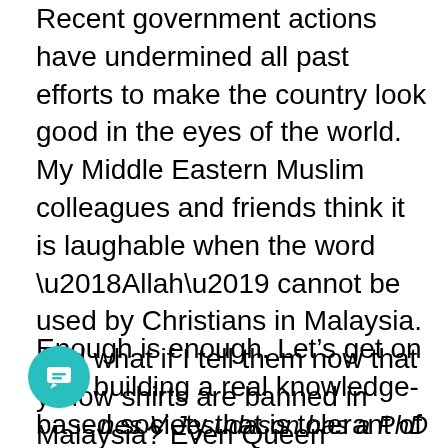Recent government actions have undermined all past efforts to make the country look good in the eyes of the world. My Middle Eastern Muslim colleagues and friends think it is laughable when the word ‘Allah’ cannot be used by Christians in Malaysia. And what if I tell them now that yellow shirts are banned in Malaysia? Even Queen Elizabeth would turn to yellow.
Enough is enough. Let’s get on with building a real knowledge-based society that is tolerant of a broad variety of ideas in society. The government can take the first step toward reform by releasing Kumar and his colleagues.
James V Jesudason has a PhD in Sociology from Harvard University and has written broadly on